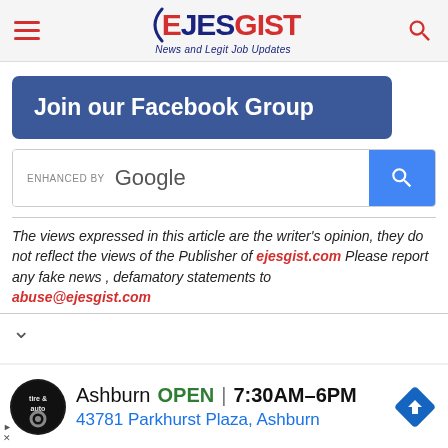EJESGIST News and Legit Job Updates
[Figure (screenshot): Join our Facebook Group button - dark blue rounded rectangle]
[Figure (screenshot): Enhanced by Google search box with blue search button]
The views expressed in this article are the writer's opinion, they do not reflect the views of the Publisher of ejesgist.com Please report any fake news , defamatory statements to abuse@ejesgist.com
[Figure (screenshot): Google ad: Ashburn OPEN 7:30AM-6PM, 43781 Parkhurst Plaza, Ashburn with tire and auto logo]